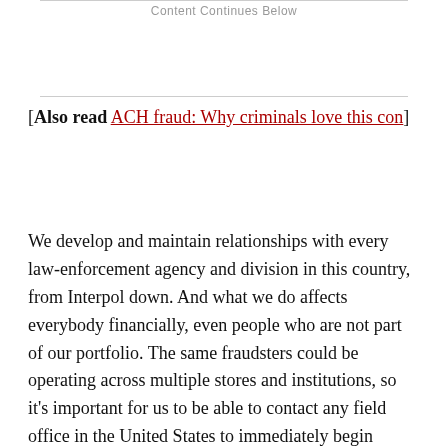Content Continues Below
[Also read ACH fraud: Why criminals love this con]
We develop and maintain relationships with every law-enforcement agency and division in this country, from Interpol down. And what we do affects everybody financially, even people who are not part of our portfolio. The same fraudsters could be operating across multiple stores and institutions, so it’s important for us to be able to contact any field office in the United States to immediately begin working on a case.